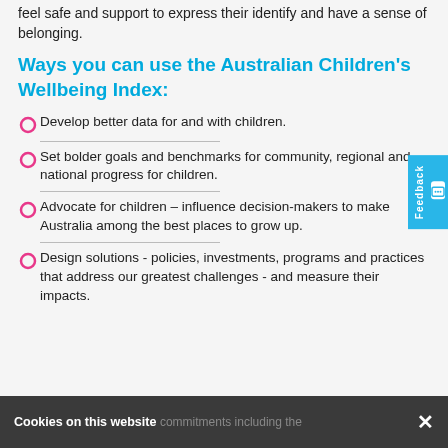feel safe and support to express their identify and have a sense of belonging.
Ways you can use the Australian Children's Wellbeing Index:
Develop better data for and with children.
Set bolder goals and benchmarks for community, regional and national progress for children.
Advocate for children – influence decision-makers to make Australia among the best places to grow up.
Design solutions - policies, investments, programs and practices that address our greatest challenges - and measure their impacts.
Cookies on this website   commitments including the